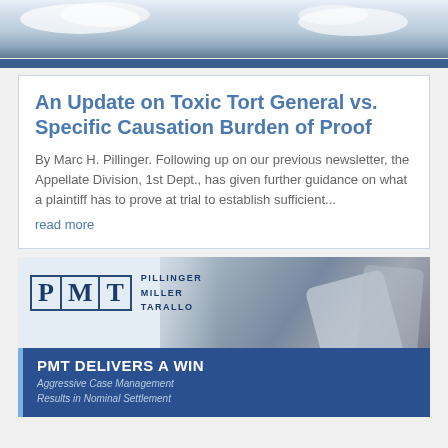[Figure (photo): Sky and clouds photo strip at top of page with blue stripe]
An Update on Toxic Tort General vs. Specific Causation Burden of Proof
By Marc H. Pillinger. Following up on our previous newsletter, the Appellate Division, 1st Dept., has given further guidance on what a plaintiff has to prove at trial to establish sufficient...
read more
[Figure (logo): Pillinger Miller Tarallo (PMT) law firm logo and advertisement banner reading 'PMT DELIVERS A WIN - Aggressive Case Management Results in Nominal Settlement' with photo of person with briefcase]